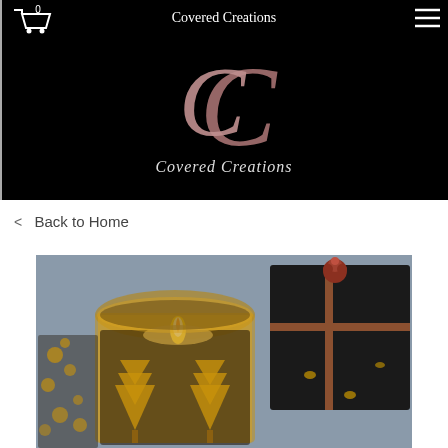[Figure (screenshot): Covered Creations website header/navigation bar on black background with shopping cart icon showing 0 items, 'Covered Creations' text, and hamburger menu icon]
[Figure (logo): Covered Creations logo: large overlapping rose-gold 'CC' letters with script text 'Covered Creations' below on black background]
< Back to Home
[Figure (photo): Product photo showing a lit candle in a gold and black decorative glass holder with tree/snowflake pattern, next to a black gift box with a decorative red flower/bow on top, against a grey background]